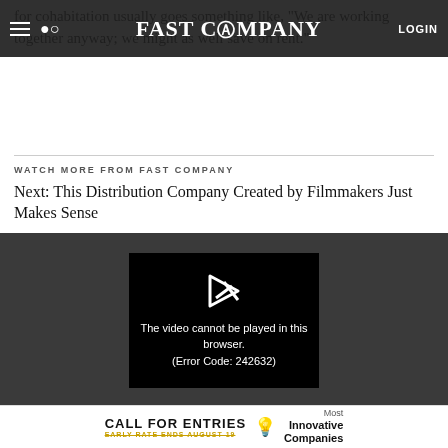Fast Company — navigation bar with hamburger, search, logo, and LOGIN
for cohabitation usually goes something like, "We are working together anyway; we might as well save on rent."
WATCH MORE FROM FAST COMPANY
Next: This Distribution Company Created by Filmmakers Just Makes Sense
[Figure (screenshot): Video player showing error: The video cannot be played in this browser. (Error Code: 242632)]
[Figure (infographic): Advertisement banner: CALL FOR ENTRIES, EARLY RATE ENDS AUGUST 19, Most Innovative Companies]